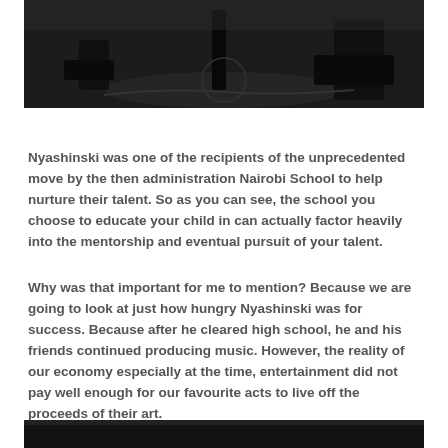[Figure (photo): Black and white photo of people on a stage or floor, partially cropped at the top of the page]
Nyashinski was one of the recipients of the unprecedented move by the then administration Nairobi School to help nurture their talent. So as you can see, the school you choose to educate your child in can actually factor heavily into the mentorship and eventual pursuit of your talent.
Why was that important for me to mention? Because we are going to look at just how hungry Nyashinski was for success. Because after he cleared high school, he and his friends continued producing music. However, the reality of our economy especially at the time, entertainment did not pay well enough for our favourite acts to live off the proceeds of their art.
[Figure (photo): Black and white photo, bottom edge visible at bottom of page, mostly dark]